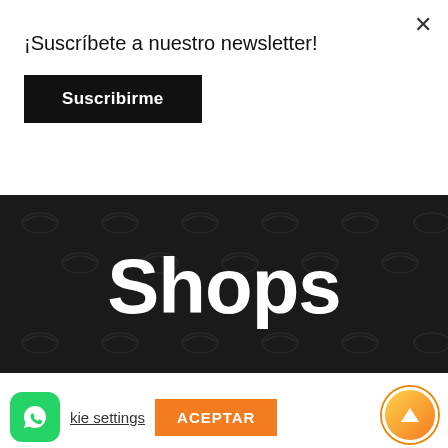¡Suscríbete a nuestro newsletter!
Suscribirme
Shops
Utilizamos cookies en nuestro sitio web para darle la experiencia más relevante recordando sus preferencias y visitas repetidas. Al hacer clic en "Aceptar", usted acepta el uso de TODAS las cookies.
kie settings
ACEPTAR